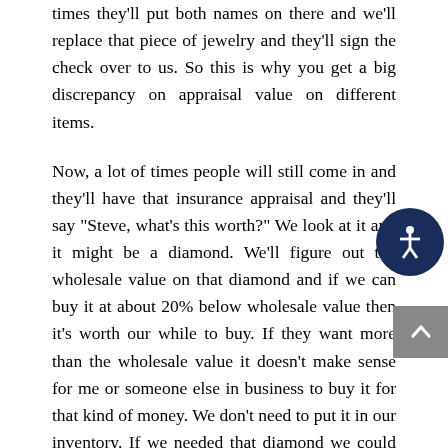times they'll put both names on there and we'll replace that piece of jewelry and they'll sign the check over to us. So this is why you get a big discrepancy on appraisal value on different items.

Now, a lot of times people will still come in and they'll have that insurance appraisal and they'll say "Steve, what's this worth?" We look at it and it might be a diamond. We'll figure out the wholesale value on that diamond and if we can buy it at about 20% below wholesale value then it's worth our while to buy. If they want more than the wholesale value it doesn't make sense for me or someone else in business to buy it for that kind of money. We don't need to put it in our inventory. If we needed that diamond we could pick up the phone and there are diamond houses that I can order that diamond for you and it costs me a little bit more than had I bought it from you at a whole sale price. So if I can save 20%, yeah, it's certainly
[Figure (other): Accessibility icon button (circle with person/wheelchair symbol, dark navy background)]
[Figure (other): Scroll-to-top button (grey rectangle with upward arrow)]